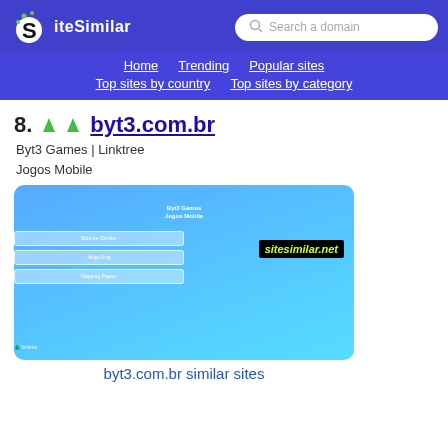SiteSimilar — Search a domain
Home | Trending | Popular sites | Top sites by country | Top sites by category
8. byt3.com.br
Byt3 Games | Linktree
Jogos Mobile
[Figure (screenshot): Screenshot of byt3.com.br website showing a Linktree-style page with blue gradient background, title 'Byt3 Games Jogos Mobile', and three buttons: Bounce Climber, Ninja Frog, Flapping Pigeon. A sitesimilar.net watermark is visible.]
byt3.com.br similar sites